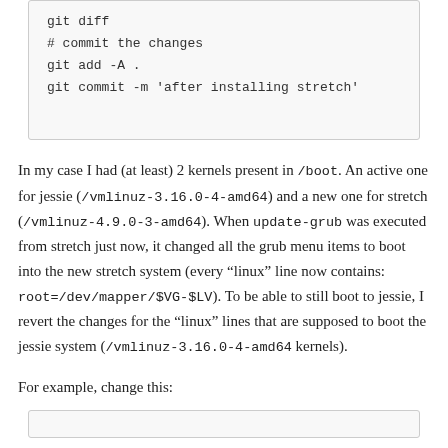git diff
# commit the changes
git add -A .
git commit -m 'after installing stretch'
In my case I had (at least) 2 kernels present in /boot. An active one for jessie (/vmlinuz-3.16.0-4-amd64) and a new one for stretch (/vmlinuz-4.9.0-3-amd64). When update-grub was executed from stretch just now, it changed all the grub menu items to boot into the new stretch system (every “linux” line now contains: root=/dev/mapper/$VG-$LV). To be able to still boot to jessie, I revert the changes for the “linux” lines that are supposed to boot the jessie system (/vmlinuz-3.16.0-4-amd64 kernels).
For example, change this: